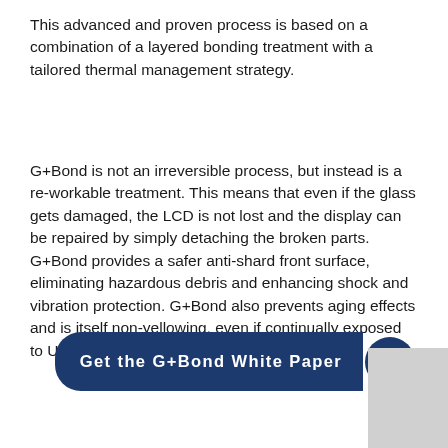This advanced and proven process is based on a combination of a layered bonding treatment with a tailored thermal management strategy.
G+Bond is not an irreversible process, but instead is a re-workable treatment. This means that even if the glass gets damaged, the LCD is not lost and the display can be repaired by simply detaching the broken parts. G+Bond provides a safer anti-shard front surface, eliminating hazardous debris and enhancing shock and vibration protection. G+Bond also prevents aging effects and is itself non-yellowing, even if continually exposed to UV light.
[Figure (other): Dark blue rounded button labeled 'Get the G+Bond White Paper' with an upward arrow chevron on the right side]